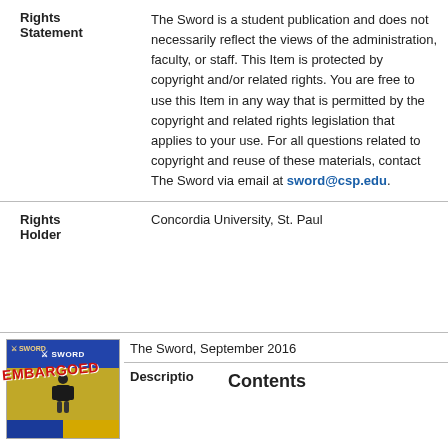| Field | Value |
| --- | --- |
| Rights Statement | The Sword is a student publication and does not necessarily reflect the views of the administration, faculty, or staff. This Item is protected by copyright and/or related rights. You are free to use this Item in any way that is permitted by the copyright and related rights legislation that applies to your use. For all questions related to copyright and reuse of these materials, contact The Sword via email at sword@csp.edu. |
| Rights Holder | Concordia University, St. Paul |
[Figure (photo): Thumbnail image of The Sword student publication cover with EMBARGOED overlay text in red]
The Sword, September 2016
Descriptio
Contents